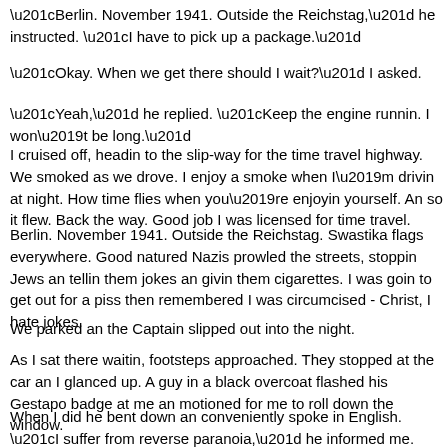“Berlin. November 1941. Outside the Reichstag,” he instructed. “I have to pick up a package.”
“Okay. When we get there should I wait?” I asked.
“Yeah,” he replied. “Keep the engine runnin. I won’t be long.”
I cruised off, headin to the slip-way for the time travel highway. We smoked as we drove. I enjoy a smoke when I’m drivin at night. How time flies when you’re enjoyin yourself. An so it flew. Back the way. Good job I was licensed for time travel.
Berlin. November 1941. Outside the Reichstag. Swastika flags everywhere. Good natured Nazis prowled the streets, stoppin Jews an tellin them jokes an givin them cigarettes. I was goin to get out for a piss then remembered I was circumcised - Christ, I hate jokes.
We parked an the Captain slipped out into the night.
As I sat there waitin, footsteps approached. They stopped at the car an I glanced up. A guy in a black overcoat flashed his Gestapo badge at me an motioned for me to roll down the window.
When I did he bent down an conveniently spoke in English. “I suffer from reverse paranoia,” he informed me.
“How come?” I asked.
“I keep thinkin I’m not being followed,” he told me.